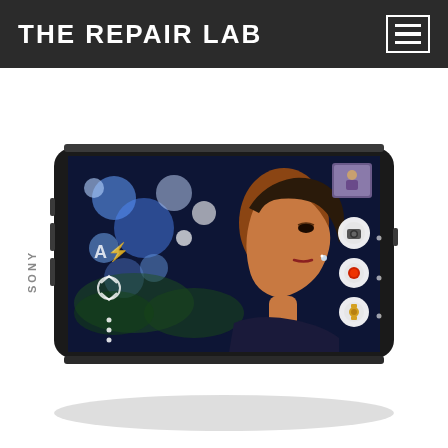THE REPAIR LAB
[Figure (photo): Sony Xperia smartphone shown in landscape orientation at an angle, displaying a camera app interface. The screen shows a woman's profile with bokeh lighting in the background. The phone has a black frame with SONY branding visible on the side. Camera UI controls are visible on screen including shutter, video record, and settings buttons.]